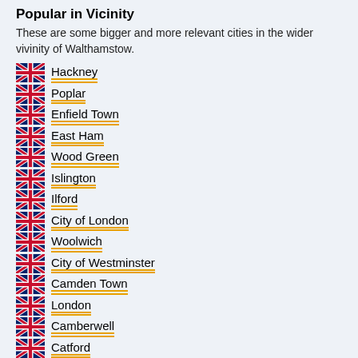Popular in Vicinity
These are some bigger and more relevant cities in the wider vivinity of Walthamstow.
Hackney
Poplar
Enfield Town
East Ham
Wood Green
Islington
Ilford
City of London
Woolwich
City of Westminster
Camden Town
London
Camberwell
Catford
Bromley